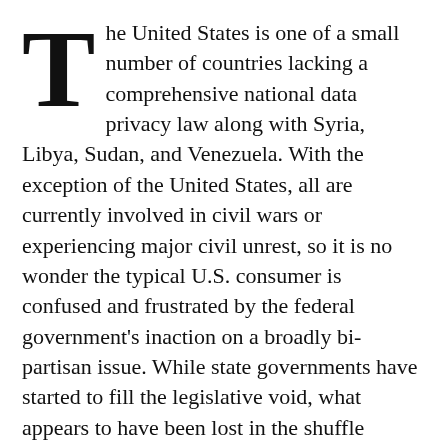The United States is one of a small number of countries lacking a comprehensive national data privacy law along with Syria, Libya, Sudan, and Venezuela.  With the exception of the United States, all are currently involved in civil wars or experiencing major civil unrest, so it is no wonder the typical U.S. consumer is confused and frustrated by the federal government's inaction on a broadly bi-partisan issue.  While state governments have started to fill the legislative void, what appears to have been lost in the shuffle between governments and big business is the voice of the consumer.
The consumer data privacy problems that exist today are unsustainable, and they will get worse before they get better so understanding consumer concerns, and how a lack of data privacy has hurt them, will be key to